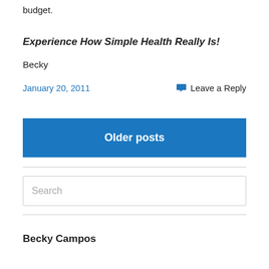budget.
Experience How Simple Health Really Is!
Becky
January 20, 2011
Leave a Reply
Older posts
Search
Becky Campos